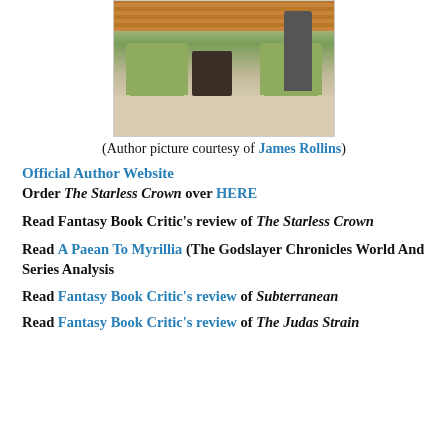[Figure (photo): Author photo showing two green armchairs with a bookshelf between them in a room with wood-paneled walls; a person stands to the right]
(Author picture courtesy of James Rollins)
Official Author Website
Order The Starless Crown over HERE
Read Fantasy Book Critic's review of The Starless Crown
Read A Paean To Myrillia (The Godslayer Chronicles World And Series Analysis
Read Fantasy Book Critic's review of Subterranean
Read Fantasy Book Critic's review of The Judas Strain